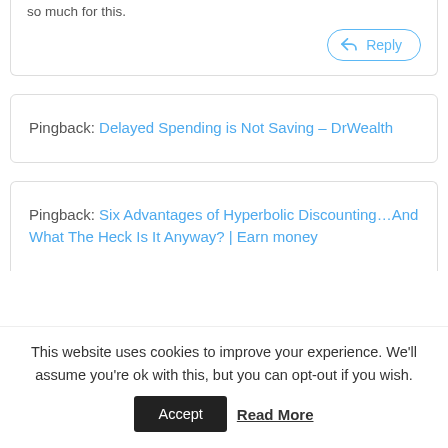so much for this.
Reply
Pingback: Delayed Spending is Not Saving - DrWealth
Pingback: Six Advantages of Hyperbolic Discounting…And What The Heck Is It Anyway? | Earn money
This website uses cookies to improve your experience. We'll assume you're ok with this, but you can opt-out if you wish. Accept Read More